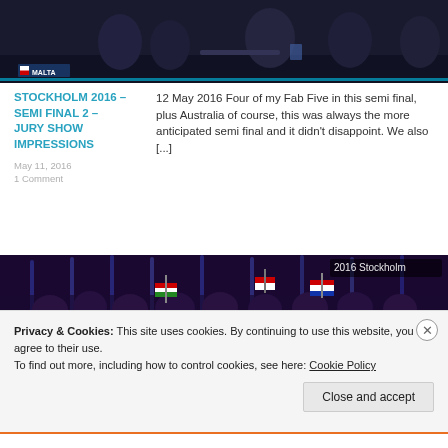[Figure (photo): Screenshot of a TV broadcast showing people seated on a stage, with a 'MALTA' label visible in the lower left corner of the broadcast.]
STOCKHOLM 2016 – SEMI FINAL 2 – JURY SHOW IMPRESSIONS
May 11, 2016
1 Comment
12 May 2016 Four of my Fab Five in this semi final, plus Australia of course, this was always the more anticipated semi final and it didn't disappoint. We also [...]
[Figure (photo): Screenshot of an event showing a crowd of people holding flags, including Hungarian and Dutch flags, with '2016 Stockholm' text in the top right corner.]
Privacy & Cookies: This site uses cookies. By continuing to use this website, you agree to their use.
To find out more, including how to control cookies, see here: Cookie Policy
Close and accept